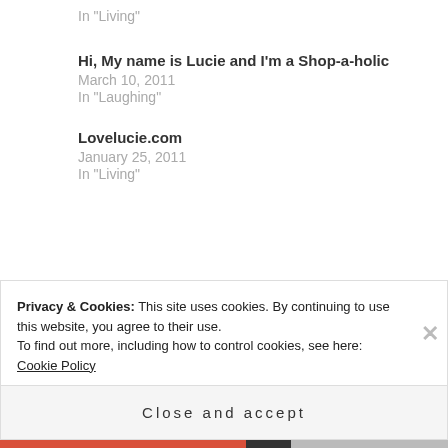In "Living"
Hi, My name is Lucie and I'm a Shop-a-holic
March 10, 2011
In "Laughing"
Lovelucie.com
January 25, 2011
In "Living"
Louboutins
No Limit Texas Hold-Em
Poker
Tournament of Champions
Privacy & Cookies: This site uses cookies. By continuing to use this website, you agree to their use.
To find out more, including how to control cookies, see here: Cookie Policy
Close and accept